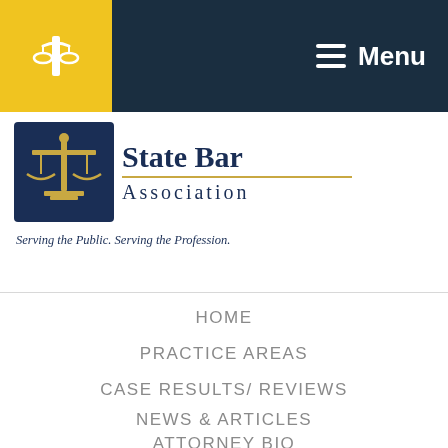[Figure (logo): State Bar Association logo with scales of justice emblem on dark blue background, 'State Bar Association' text, and tagline 'Serving the Public. Serving the Profession.']
Menu
HOME
PRACTICE AREAS
CASE RESULTS/ REVIEWS
NEWS & ARTICLES
ATTORNEY BIO